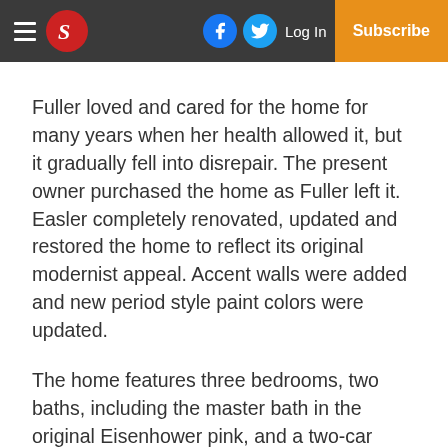S [logo] | Facebook | Twitter | Log In | Subscribe
Fuller loved and cared for the home for many years when her health allowed it, but it gradually fell into disrepair. The present owner purchased the home as Fuller left it. Easler completely renovated, updated and restored the home to reflect its original modernist appeal. Accent walls were added and new period style paint colors were updated.
The home features three bedrooms, two baths, including the master bath in the original Eisenhower pink, and a two-car garage. As one tours this home, one will see the defining features of the Mid-Century